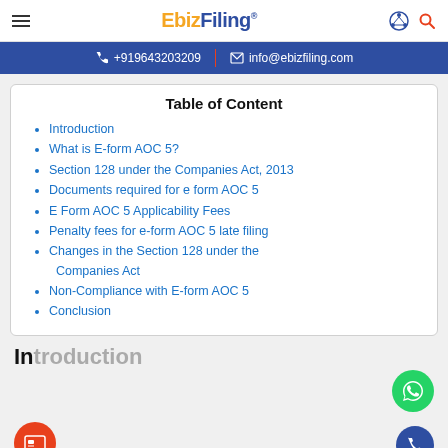EbizFiling
+919643203209 | info@ebizfiling.com
Table of Content
Introduction
What is E-form AOC 5?
Section 128 under the Companies Act, 2013
Documents required for e form AOC 5
E Form AOC 5 Applicability Fees
Penalty fees for e-form AOC 5 late filing
Changes in the Section 128 under the Companies Act
Non-Compliance with E-form AOC 5
Conclusion
Introduction